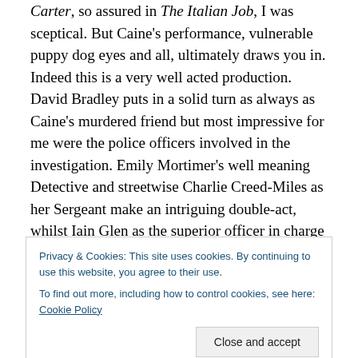Carter, so assured in The Italian Job, I was sceptical. But Caine's performance, vulnerable puppy dog eyes and all, ultimately draws you in. Indeed this is a very well acted production. David Bradley puts in a solid turn as always as Caine's murdered friend but most impressive for me were the police officers involved in the investigation. Emily Mortimer's well meaning Detective and streetwise Charlie Creed-Miles as her Sergeant make an intriguing double-act, whilst Iain Glen as the superior officer in charge is totally convincing in his brief scenes trundling out the official line with cold hearted efficiency. If the film has a
Privacy & Cookies: This site uses cookies. By continuing to use this website, you agree to their use. To find out more, including how to control cookies, see here: Cookie Policy
exists and even the police recognise the best they can do